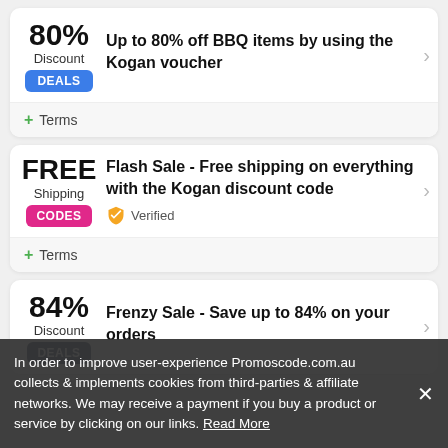80% Discount
DEALS
Up to 80% off BBQ items by using the Kogan voucher
+ Terms
FREE Shipping
CODES
Flash Sale - Free shipping on everything with the Kogan discount code
Verified
+ Terms
84% Discount
DEALS
Frenzy Sale - Save up to 84% on your orders
In order to improve user-experience Promoscode.com.au collects & implements cookies from third-parties & affiliate networks. We may receive a payment if you buy a product or service by clicking on our links. Read More